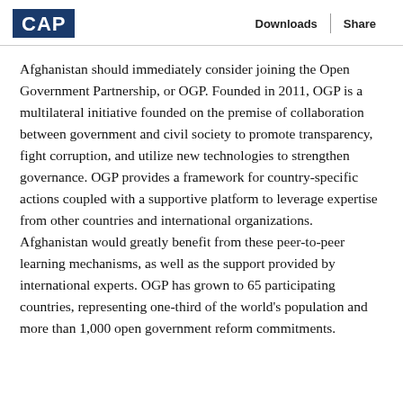CAP | Downloads | Share
Afghanistan should immediately consider joining the Open Government Partnership, or OGP. Founded in 2011, OGP is a multilateral initiative founded on the premise of collaboration between government and civil society to promote transparency, fight corruption, and utilize new technologies to strengthen governance. OGP provides a framework for country-specific actions coupled with a supportive platform to leverage expertise from other countries and international organizations. Afghanistan would greatly benefit from these peer-to-peer learning mechanisms, as well as the support provided by international experts. OGP has grown to 65 participating countries, representing one-third of the world's population and more than 1,000 open government reform commitments.